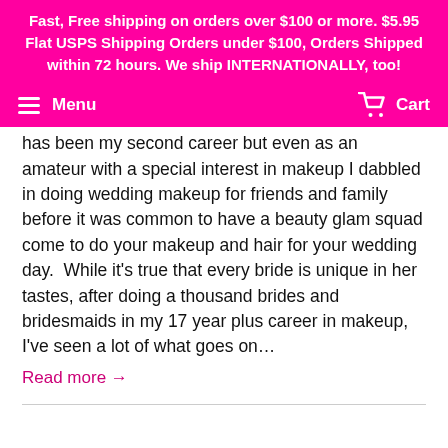Fast, Free shipping on orders over $100 or more. $5.95 Flat USPS Shipping Orders under $100, Orders Shipped within 72 hours. We ship INTERNATIONALLY, too!
Menu   Cart
has been my second career but even as an amateur with a special interest in makeup I dabbled in doing wedding makeup for friends and family before it was common to have a beauty glam squad come to do your makeup and hair for your wedding day.  While it's true that every bride is unique in her tastes, after doing a thousand brides and bridesmaids in my 17 year plus career in makeup, I've seen a lot of what goes on…
Read more →